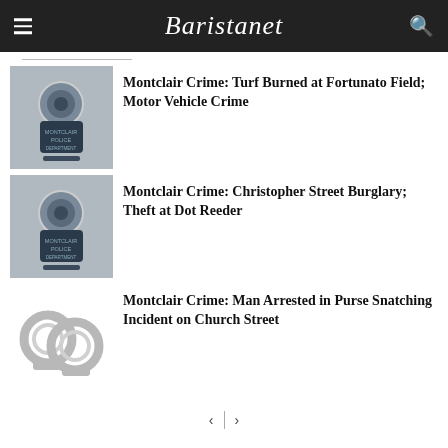Baristanet
[Figure (photo): Montclair Police Department badge/sign close-up photo]
Montclair Crime: Turf Burned at Fortunato Field; Motor Vehicle Crime
[Figure (photo): Montclair Police Department badge/sign close-up photo]
Montclair Crime: Christopher Street Burglary; Theft at Dot Reeder
[Figure (photo): Silver handcuffs on white background]
Montclair Crime: Man Arrested in Purse Snatching Incident on Church Street